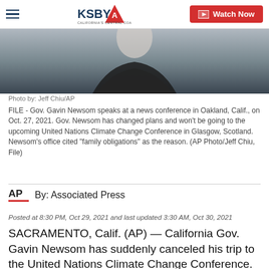KSBY | Watch Now
[Figure (photo): A person in a dark jacket photographed from below/mid-torso up, blurred/cropped news conference photo]
Photo by: Jeff Chiu/AP

FILE - Gov. Gavin Newsom speaks at a news conference in Oakland, Calif., on Oct. 27, 2021. Gov. Newsom has changed plans and won't be going to the upcoming United Nations Climate Change Conference in Glasgow, Scotland. Newsom's office cited "family obligations" as the reason. (AP Photo/Jeff Chiu, File)
By: Associated Press
Posted at 8:30 PM, Oct 29, 2021 and last updated 3:30 AM, Oct 30, 2021
SACRAMENTO, Calif. (AP) — California Gov. Gavin Newsom has suddenly canceled his trip to the United Nations Climate Change Conference. In a brief statement Friday, his office cited unspecified “family obligations.”